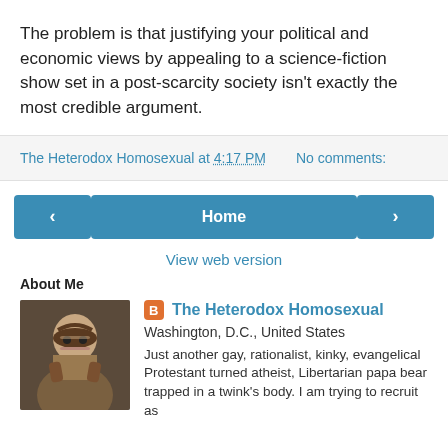The problem is that justifying your political and economic views by appealing to a science-fiction show set in a post-scarcity society isn't exactly the most credible argument.
The Heterodox Homosexual at 4:17 PM    No comments:
Home
View web version
About Me
The Heterodox Homosexual
Washington, D.C., United States
Just another gay, rationalist, kinky, evangelical Protestant turned atheist, Libertarian papa bear trapped in a twink's body. I am trying to recruit as